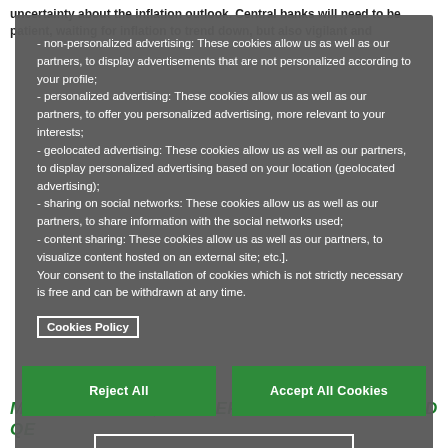uncertainty about the inflation outlook. Central banks will need to be patient, waiting for inflation to trend down, but also vigilant and
- non-personalized advertising: These cookies allow us as well as our partners, to display advertisements that are not personalized according to your profile; - personalized advertising: These cookies allow us as well as our partners, to offer you personalized advertising, more relevant to your interests; - geolocated advertising: These cookies allow us as well as our partners, to display personalized advertising based on your location (geolocated advertising); - sharing on social networks: These cookies allow us as well as our partners, to share information with the social networks used; - content sharing: These cookies allow us as well as our partners, to visualize content hosted on an external site; etc.]. Your consent to the installation of cookies which is not strictly necessary is free and can be withdrawn at any time.
Cookies Policy
Reject All
Accept All Cookies
Manage Cookies
MARKET TIMING, THE ZERO LOWER BOUND AND QE